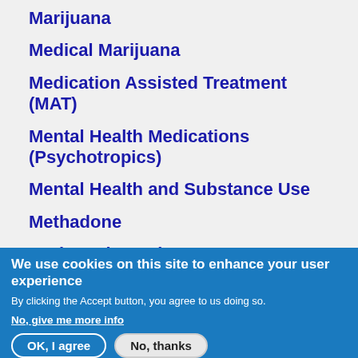Marijuana
Medical Marijuana
Medication Assisted Treatment (MAT)
Mental Health Medications (Psychotropics)
Mental Health and Substance Use
Methadone
Methamphetamine
Militarization
Mushrooms (Psilocybin)
We use cookies on this site to enhance your user experience
By clicking the Accept button, you agree to us doing so.
No, give me more info
OK, I agree | No, thanks